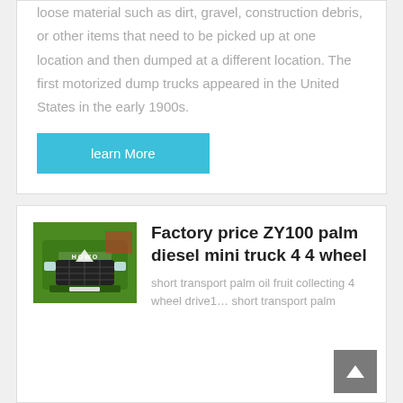loose material such as dirt, gravel, construction debris, or other items that need to be picked up at one location and then dumped at a different location. The first motorized dump trucks appeared in the United States in the early 1900s.
learn More
[Figure (photo): Front view of a green truck with a logo, parked outdoors]
Factory price ZY100 palm diesel mini truck 4 4 wheel
short transport palm oil fruit collecting 4 wheel drive1… short transport palm